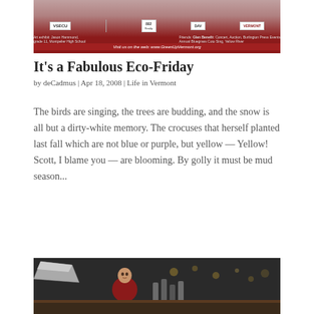[Figure (photo): Top banner image with red background showing event logos including VSECU and other sponsor logos, with website URL at bottom reading www.GreenUpVermont.org]
It's a Fabulous Eco-Friday
by deCadmus | Apr 18, 2008 | Life in Vermont
The birds are singing, the trees are budding, and the snow is all but a dirty-white memory. The crocuses that herself planted last fall which are not blue or purple, but yellow — Yellow! Scott, I blame you — are blooming. By golly it must be mud season...
[Figure (photo): Photo of a bartender or person in red shirt at a bar with bottles visible in background, appears to be pouring or mixing drinks]